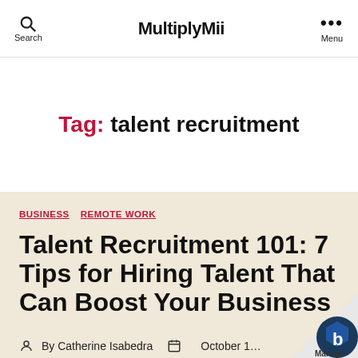MultiplyMii  Search  Menu
Tag: talent recruitment
BUSINESS  REMOTE WORK
Talent Recruitment 101: 7 Tips for Hiring Talent That Can Boost Your Business
By Catherine Isabedra  October 1